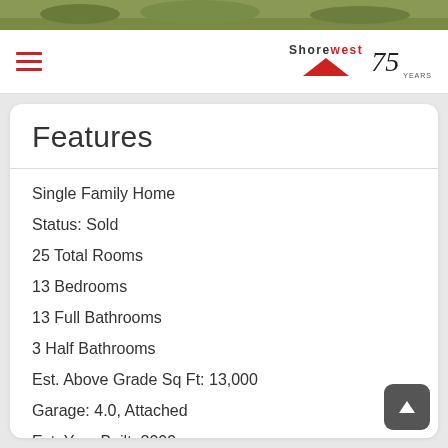[Figure (photo): Green landscape/garden image at top of page]
Shorewest 75 Years
Features
Single Family Home
Status: Sold
25 Total Rooms
13 Bedrooms
13 Full Bathrooms
3 Half Bathrooms
Est. Above Grade Sq Ft: 13,000
Garage: 4.0, Attached
Est. Year Built: 2009
Subdivision: Baker & Brown
School District: Lake Geneva J1